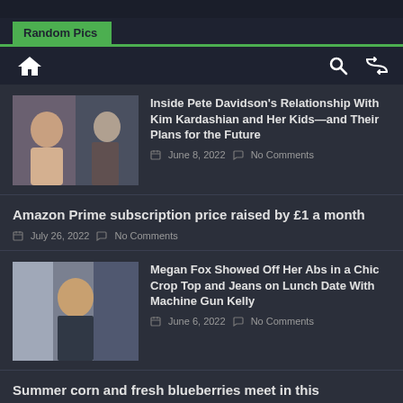Random Pics
Inside Pete Davidson’s Relationship With Kim Kardashian and Her Kids—and Their Plans for the Future | June 8, 2022 | No Comments
Amazon Prime subscription price raised by £1 a month | July 26, 2022 | No Comments
Megan Fox Showed Off Her Abs in a Chic Crop Top and Jeans on Lunch Date With Machine Gun Kelly | June 6, 2022 | No Comments
Summer corn and fresh blueberries meet in this decadent cannabis-infused frozen dessert | July 9, 2022 | No Comments